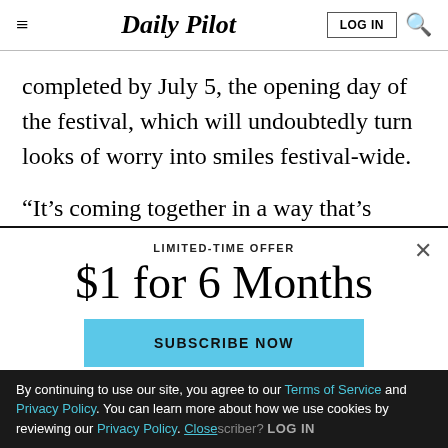Daily Pilot
completed by July 5, the opening day of the festival, which will undoubtedly turn looks of worry into smiles festival-wide.
“It’s coming together in a way that’s surprising,” said
LIMITED-TIME OFFER
$1 for 6 Months
SUBSCRIBE NOW
By continuing to use our site, you agree to our Terms of Service and Privacy Policy. You can learn more about how we use cookies by reviewing our Privacy Policy. Close
Already a subscriber? LOG IN